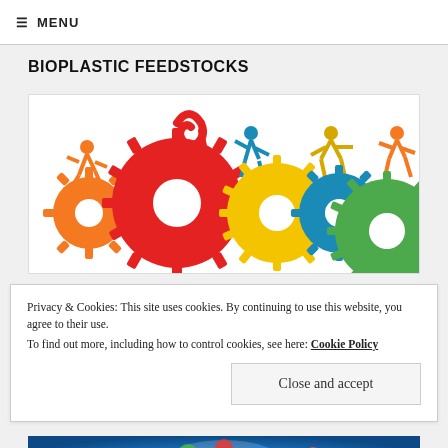≡ MENU
BIOPLASTIC FEEDSTOCKS
[Figure (illustration): Colorful illustration of stick figures running on interlocking gears of different sizes and colors (orange, red, yellow, blue, green)]
Privacy & Cookies: This site uses cookies. By continuing to use this website, you agree to their use.
To find out more, including how to control cookies, see here: Cookie Policy
Close and accept
[Figure (photo): Bottom strip showing colorful app icons floating on a blue glowing background]